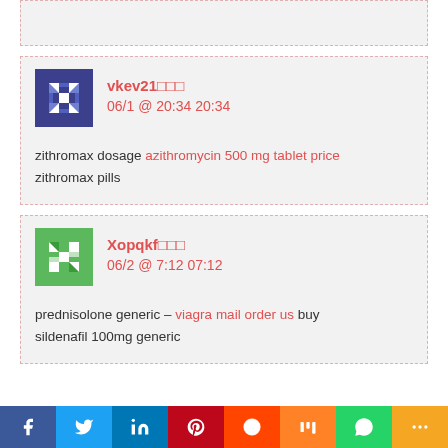[Figure (other): Partial top of a comment card visible at the top of the page]
[Figure (other): Avatar for user vkev21 – navy blue geometric pattern identicon]
vkev21□□□
06/1 @ 20:34 20:34
zithromax dosage azithromycin 500 mg tablet price zithromax pills
[Figure (other): Avatar for user Xopqkf – green geometric pattern identicon]
Xopqkf□□□
06/2 @ 7:12 07:12
prednisolone generic – viagra mail order us buy sildenafil 100mg generic
[Figure (other): Social sharing bar with Facebook, Twitter, LinkedIn, Pinterest, Reddit, Mix, WhatsApp, More buttons]